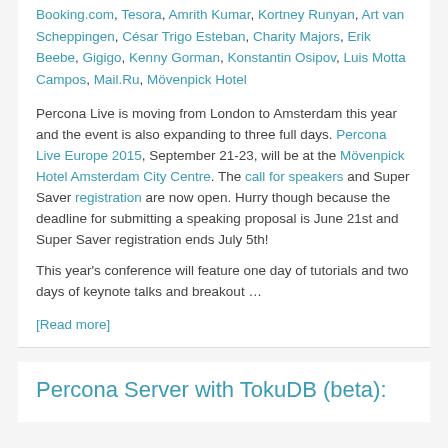Booking.com, Tesora, Amrith Kumar, Kortney Runyan, Art van Scheppingen, César Trigo Esteban, Charity Majors, Erik Beebe, Gigigo, Kenny Gorman, Konstantin Osipov, Luis Motta Campos, Mail.Ru, Mövenpick Hotel
Percona Live is moving from London to Amsterdam this year and the event is also expanding to three full days. Percona Live Europe 2015, September 21-23, will be at the Mövenpick Hotel Amsterdam City Centre. The call for speakers and Super Saver registration are now open. Hurry though because the deadline for submitting a speaking proposal is June 21st and Super Saver registration ends July 5th!
This year's conference will feature one day of tutorials and two days of keynote talks and breakout …
[Read more]
Percona Server with TokuDB (beta):